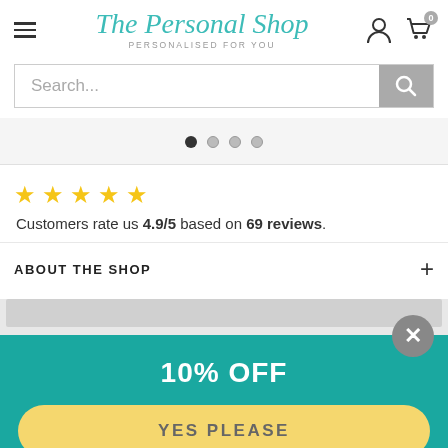The Personal Shop — PERSONALISED FOR YOU
Search...
[Figure (other): Carousel pagination dots: 4 dots, first dot filled dark, others grey]
Customers rate us 4.9/5 based on 69 reviews.
ABOUT THE SHOP
[Figure (other): Partial image strip preview below 'About the Shop' section]
10% OFF
YES PLEASE